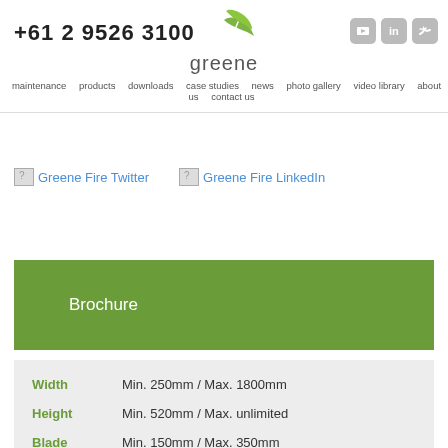+61 2 9526 3100  |  greene  |  maintenance  products  downloads  case studies  news  photo gallery  video library  about us  contact us
[Figure (logo): Greene Fire logo with green leaf icon and stylized text 'greene']
[Figure (other): Social media icons: YouTube, LinkedIn, Twitter]
[Figure (other): Broken image placeholder labeled 'Greene Fire Twitter']
[Figure (other): Broken image placeholder labeled 'Greene Fire LinkedIn']
Brochure
| Specification | Value |
| --- | --- |
| Width | Min. 250mm / Max. 1800mm |
| Height | Min. 520mm / Max. unlimited |
| Blade | Min. 150mm / Max. 350mm |